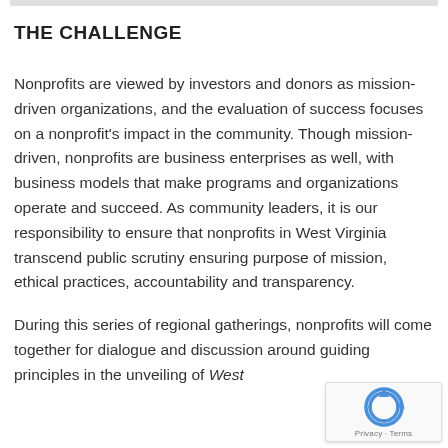THE CHALLENGE
Nonprofits are viewed by investors and donors as mission-driven organizations, and the evaluation of success focuses on a nonprofit’s impact in the community. Though mission-driven, nonprofits are business enterprises as well, with business models that make programs and organizations operate and succeed. As community leaders, it is our responsibility to ensure that nonprofits in West Virginia transcend public scrutiny ensuring purpose of mission, ethical practices, accountability and transparency.
During this series of regional gatherings, nonprofits will come together for dialogue and discussion around guiding principles in the unveiling of West